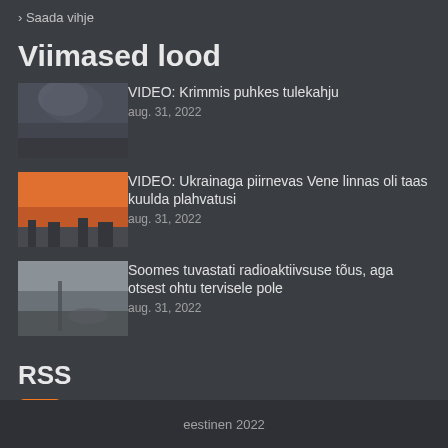› Saada vihje
Viimased lood
[Figure (photo): Dark smoke plume against sky, fire scene]
VIDEO: Krimmis puhkes tulekahju
aug. 31, 2022
[Figure (photo): Orange sunset sky over city silhouette]
VIDEO: Ukrainaga piirnevas Vene linnas oli taas kuulda plahvatusi
aug. 31, 2022
[Figure (photo): Shore or waterfront scene, grey tones]
Soomes tuvastati radioaktiivsuse tõus, aga otsest ohtu tervisele pole
aug. 31, 2022
RSS
Telli RSS
eestinen 2022